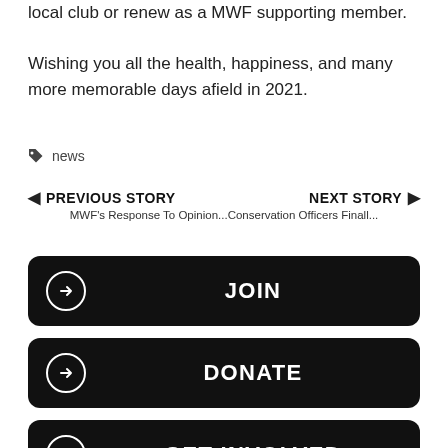local club or renew as a MWF supporting member.

Wishing you all the health, happiness, and many more memorable days afield in 2021.
news
PREVIOUS STORY    NEXT STORY
MWF's Response To Opinion...Conservation Officers Finall...
JOIN
DONATE
GET INVOLVED